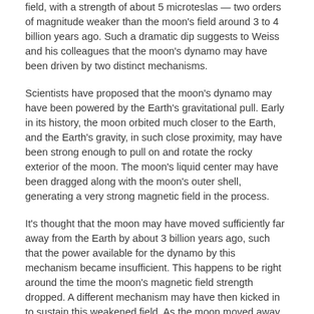field, with a strength of about 5 microteslas — two orders of magnitude weaker than the moon's field around 3 to 4 billion years ago. Such a dramatic dip suggests to Weiss and his colleagues that the moon's dynamo may have been driven by two distinct mechanisms.
Scientists have proposed that the moon's dynamo may have been powered by the Earth's gravitational pull. Early in its history, the moon orbited much closer to the Earth, and the Earth's gravity, in such close proximity, may have been strong enough to pull on and rotate the rocky exterior of the moon. The moon's liquid center may have been dragged along with the moon's outer shell, generating a very strong magnetic field in the process.
It's thought that the moon may have moved sufficiently far away from the Earth by about 3 billion years ago, such that the power available for the dynamo by this mechanism became insufficient. This happens to be right around the time the moon's magnetic field strength dropped. A different mechanism may have then kicked in to sustain this weakened field. As the moon moved away from the Earth, its core likely sustained a low boil via a slow process of cooling over at least 1 billion years.
"As the moon cools, its core acts like a lava lamp — low-density stuff